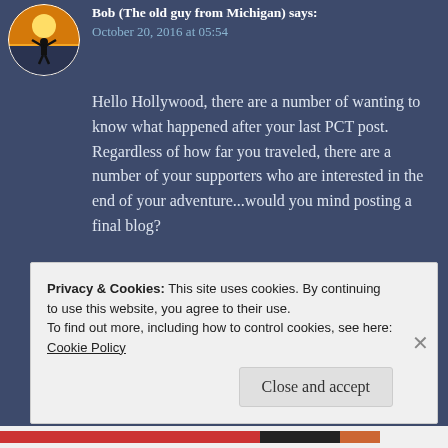[Figure (photo): Circular avatar photo showing a silhouette of a person with arms raised against a bright sunset/sunrise sky]
Bob (The old guy from Michigan) says:
October 20, 2016 at 05:54
Hello Hollywood, there are a number of wanting to know what happened after your last PCT post. Regardless of how far you traveled, there are a number of your supporters who are interested in the end of your adventure...would you mind posting a final blog?
Like
Privacy & Cookies: This site uses cookies. By continuing to use this website, you agree to their use.
To find out more, including how to control cookies, see here: Cookie Policy
Close and accept